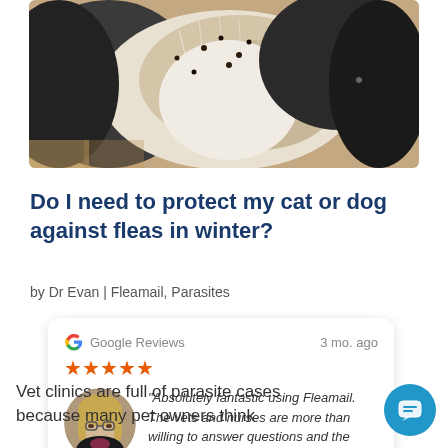[Figure (photo): Close-up photo of a dog or cat's belly/neck area with visible fleas or flea dirt on light fur]
Do I need to protect my cat or dog against fleas in winter?
by Dr Evan | Fleamail, Parasites
[Figure (other): Google Reviews card showing 5 stars and a review by Pamela Walker: 'Absolutely fantastic using Fleamail. The vets and nurses are more than willing to answer questions and the quality of the products is so...' Verified by Nudgify, 3 mo. ago]
Vet clinics are full of parasite cases because many pet owners think